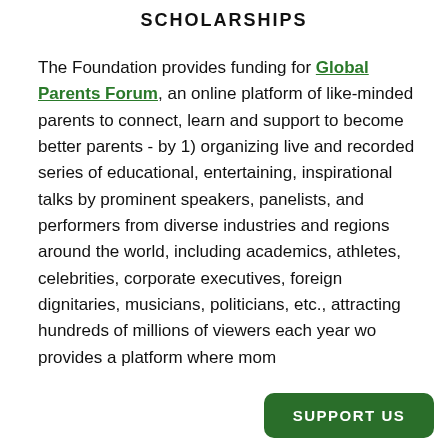SCHOLARSHIPS
The Foundation provides funding for Global Parents Forum, an online platform of like-minded parents to connect, learn and support to become better parents - by 1) organizing live and recorded series of educational, entertaining, inspirational talks by prominent speakers, panelists, and performers from diverse industries and regions around the world, including academics, athletes, celebrities, corporate executives, foreign dignitaries, musicians, politicians, etc., attracting hundreds of millions of viewers each year wo provides a platform where mom
SUPPORT US